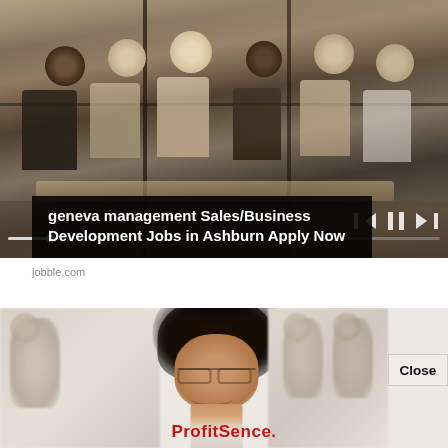[Figure (photo): Screenshot of a web advertisement showing a business meeting room with people seated around a table, with video player controls visible. An ad overlay reads 'geneva management Sales/Business Development Jobs in Ashburn Apply Now' with source 'jobble.com']
geneva management Sales/Business Development Jobs in Ashburn Apply Now
jobble.com
[Figure (photo): Second advertisement showing a smiling Black woman wearing glasses in a professional setting. Text reads 'ProfitSence.' with a Close button visible in the top right.]
Close
ProfitSence.